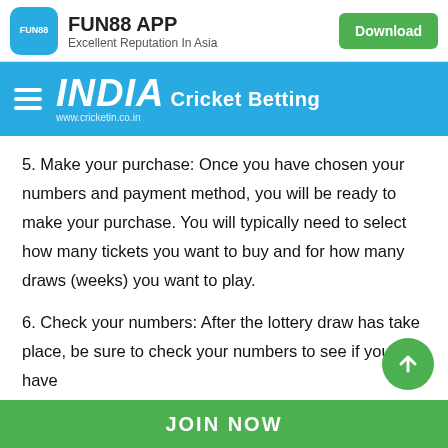[Figure (logo): FUN88 APP advertisement banner with blue rounded logo, title 'FUN88 APP', subtitle 'Excellent Reputation In Asia', and a green Download button]
INDIA Cricket Betting www.cricketin.co.in
5. Make your purchase: Once you have chosen your numbers and payment method, you will be ready to make your purchase. You will typically need to select how many tickets you want to buy and for how many draws (weeks) you want to play.
6. Check your numbers: After the lottery draw has take place, be sure to check your numbers to see if you have
JOIN NOW